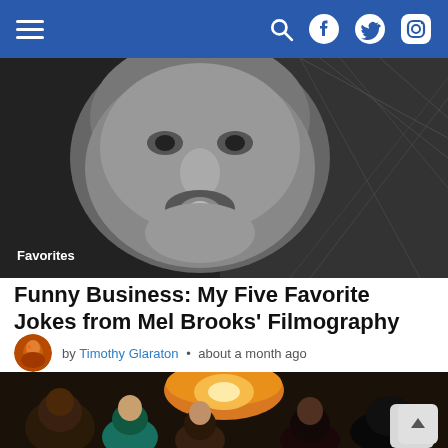Navigation bar with hamburger menu, search, Facebook, Twitter, Instagram icons
[Figure (photo): Black and white close-up photo of a person's face with distorted or comedic expression, with spider-web textures in background. Label 'Favorites' overlaid at bottom left.]
Funny Business: My Five Favorite Jokes from Mel Brooks' Filmography
by Timothy Glaraton • about a month ago
[Figure (photo): Color photo of a group of young people gathered around a table with a decorative lamp/light fixture visible above them.]